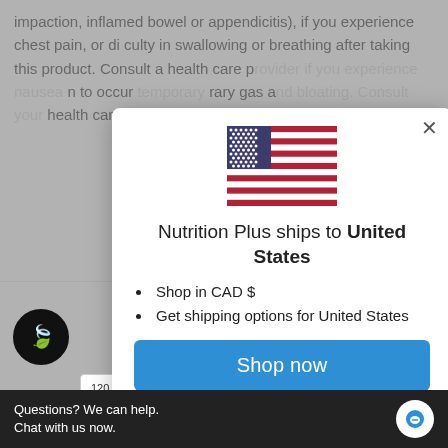impaction, inflamed bowel or appendicitis), if you experience chest pain, or difficulty in swallowing or breathing after taking this product. Consult a health care provider if you experience nausea to occur temporary gas and health care provider keep out of reach
[Figure (infographic): Modal dialog overlay showing US flag and shipping information for Nutrition Plus]
Nutrition Plus ships to United States
Shop in CAD $
Get shipping options for United States
Shop now
Change shipping country
Questions? We can help. Chat with us now.